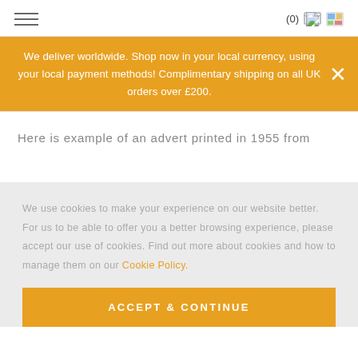(0)
We deliver worldwide. Shop now in your local currency, using your local payment methods! Complimentary shipping on all UK orders over £200.
Here is example of an advert printed in 1955 from
We use cookies to make your experience on our website better. For us to be able to offer you a better browsing experience, please accept our use of cookies. Find out more about cookies and how to manage them on our Cookie Policy.
ACCEPT & CONTINUE